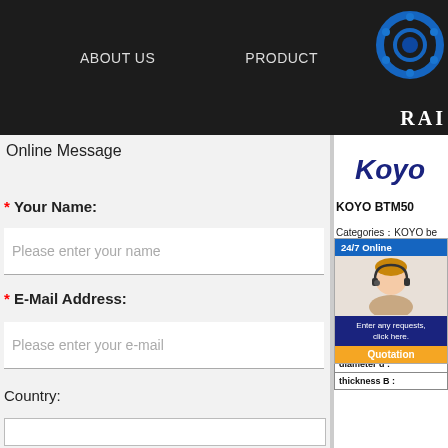ABOUT US   PRODUCT
Online Message
* Your Name:
Please enter your name
* E-Mail Address:
Please enter your e-mail
Country:
[Figure (logo): Koyo brand logo in dark blue italic text]
KOYO BTM50
Categories：KOYO be
Please contact Email for any inqu
EMAIl:sale@topbearing-sa
| bearing name: |
| Brand model : |
| outer diameter D : |
| diameter d : |
| thickness B : |